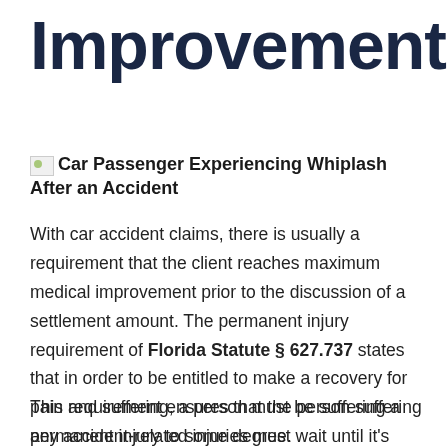Improvement
[Figure (photo): Broken image placeholder for 'Car Passenger Experiencing Whiplash After an Accident']
Car Passenger Experiencing Whiplash After an Accident
With car accident claims, there is usually a requirement that the client reaches maximum medical improvement prior to the discussion of a settlement amount. The permanent injury requirement of Florida Statute § 627.737 states that in order to be entitled to make a recovery for pain and suffering, a person must be suffering a permanent injury to some degree.
This requirement ensures that the person suffering any accident-related injuries must wait until it's determined that medical care and time will bring them to baseline